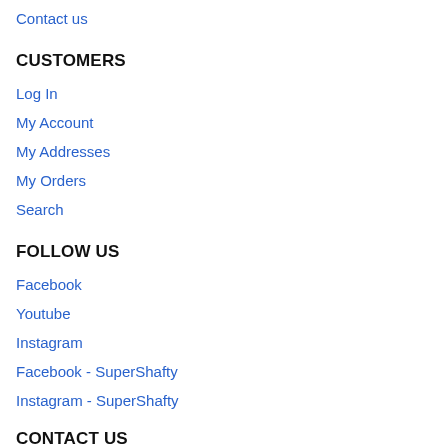Contact us
CUSTOMERS
Log In
My Account
My Addresses
My Orders
Search
FOLLOW US
Facebook
Youtube
Instagram
Facebook - SuperShafty
Instagram - SuperShafty
CONTACT US